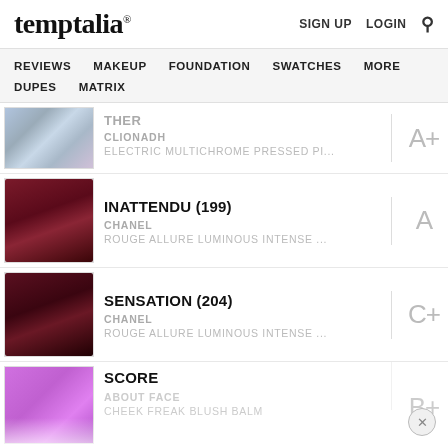temptalia® — SIGN UP  LOGIN  🔍
temptalia®
SIGN UP
LOGIN
REVIEWS  MAKEUP  FOUNDATION  SWATCHES  MORE  DUPES  MATRIX
[Figure (photo): Partially visible pressed pigment product with blue/purple metallic shimmer — Clionadh Electric Multichrome Pressed Pigment]
THER
CLIONADH
ELECTRIC MULTICHROME PRESSED PI...
A+
[Figure (photo): Dark red lipstick bullet — Chanel Inattendu (199) Rouge Allure Luminous Intense]
INATTENDU (199)
CHANEL
ROUGE ALLURE LUMINOUS INTENSE ...
A
[Figure (photo): Very dark red/burgundy lipstick bullet — Chanel Sensation (204) Rouge Allure Luminous Intense]
SENSATION (204)
CHANEL
ROUGE ALLURE LUMINOUS INTENSE ...
C+
[Figure (photo): Purple/magenta compact blush balm — About Face Cheek Freak Blush Balm]
SCORE
ABOUT FACE
CHEEK FREAK BLUSH BALM
B+